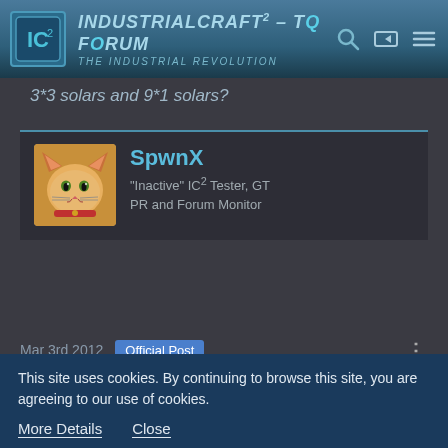IndustrialCraft² – The Forum – The Industrial Revolution
3*3 solars and 9*1 solars?
SpwnX
"Inactive" IC² Tester, GT PR and Forum Monitor
Mar 3rd 2012  Official Post
Quote from Sebra
I'm afraid if solars placed as flat square, tin network has too many interconnections underneath? Is lag different in 3*3 solars and 9*1 solars?
This site uses cookies. By continuing to browse this site, you are agreeing to our use of cookies.
More Details   Close